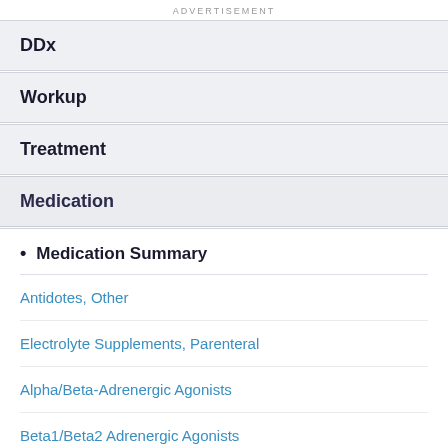ADVERTISEMENT
DDx
Workup
Treatment
Medication
Medication Summary
Antidotes, Other
Electrolyte Supplements, Parenteral
Alpha/Beta-Adrenergic Agonists
Beta1/Beta2 Adrenergic Agonists